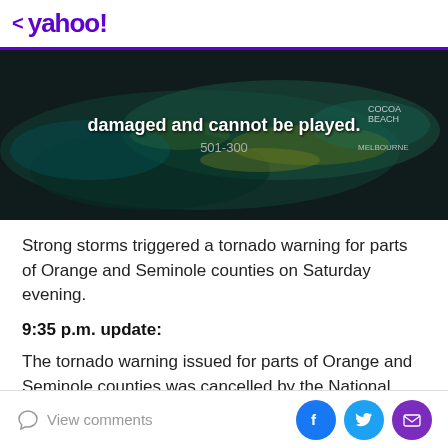< yahoo!
[Figure (screenshot): Video error banner showing a weather map with text 'damaged and cannot be played.' and error code '501-300']
Strong storms triggered a tornado warning for parts of Orange and Seminole counties on Saturday evening.
9:35 p.m. update:
The tornado warning issued for parts of Orange and Seminole counties was cancelled by the National Weather Service at 9:30 p.m.
View comments